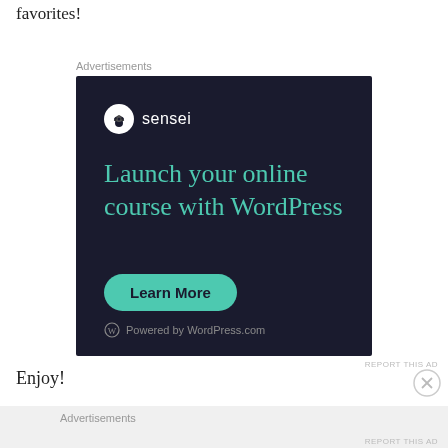favorites!
Advertisements
[Figure (other): Sensei advertisement: dark navy background with Sensei logo (white circle with tree icon and 'sensei' text), headline 'Launch your online course with WordPress' in teal, a teal 'Learn More' rounded button, and 'Powered by WordPress.com' footer text with WordPress logo.]
REPORT THIS AD
Enjoy!
Advertisements
REPORT THIS AD